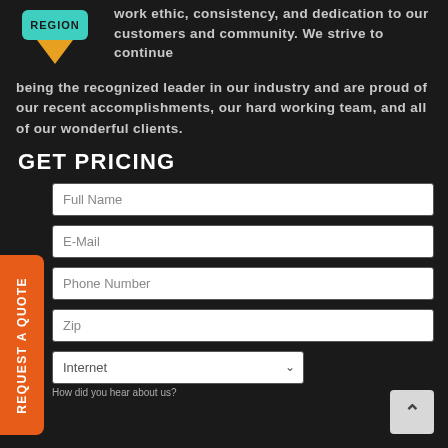[Figure (logo): Map pin / location marker icon with 'REGION' label, in teal/green color with orange/yellow triangle pointer, on dark background]
work ethic, consistency, and dedication to our customers and community. We strive to continue being the recognized leader in our industry and are proud of our recent accomplishments, our hard working team, and all of our wonderful clients.
GET PRICING
Full Name
E-Mail
Phone Number
Zip
Internet
How did you hear about us?
REQUEST A QUOTE